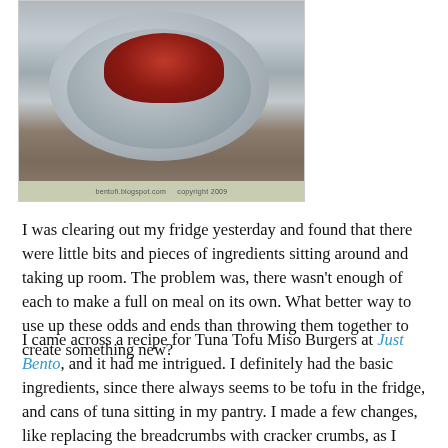[Figure (photo): Photo of a bento box with a round gray bowl containing what appears to be red berries or food items, placed on a wooden surface. Photo watermark reads: bentofi.blogspot.com  copyright 2009]
I was clearing out my fridge yesterday and found that there were little bits and pieces of ingredients sitting around and taking up room. The problem was, there wasn't enough of each to make a full on meal on its own. What better way to use up these odds and ends than throwing them together to create something new?
I came across a recipe for Tuna Tofu Miso Burgers at Just Bento, and it had me intrigued. I definitely had the basic ingredients, since there always seems to be tofu in the fridge, and cans of tuna sitting in my pantry. I made a few changes, like replacing the breadcrumbs with cracker crumbs, as I was far too lazy to make my own breadcrumbs. I also had a few shiitake mushrooms leftover, so I added those into the mix.